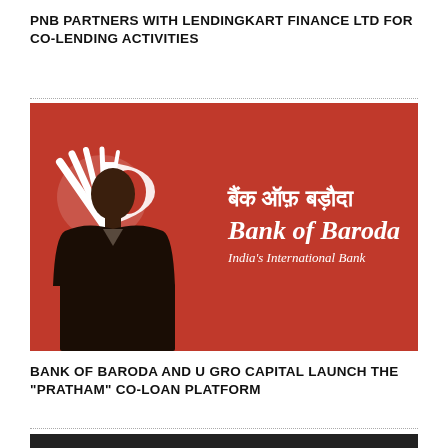PNB PARTNERS WITH LENDINGKART FINANCE LTD FOR CO-LENDING ACTIVITIES
[Figure (photo): Bank of Baroda banner/signage in red with the Bank of Baroda logo (stylized B), Hindi text 'बैंक ऑफ़ बड़ौदा', English text 'Bank of Baroda', tagline 'India's International Bank', and silhouette of a person in the foreground.]
BANK OF BARODA AND U GRO CAPITAL LAUNCH THE "PRATHAM" CO-LOAN PLATFORM